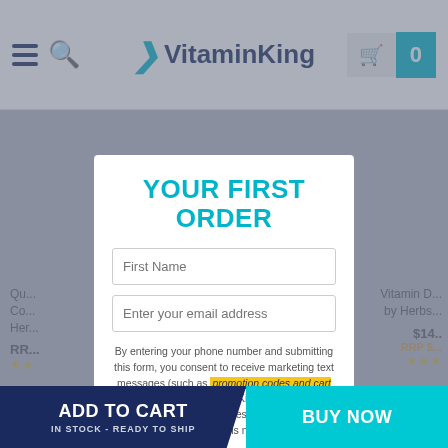VitaminKing – navigation bar with hamburger, search, logo, and cart (0 items)
[Figure (screenshot): Blurred product listing page showing partial product cards on left and right]
YOUR FIRST ORDER
First Name (input field)
Enter your email address (input field)
By entering your phone number and submitting this form, you consent to receive marketing text messages (such as promotion codes and cart reminders) from Vitamin King at the number provided, including messages sent by autodialer. Consent is not a condition
ADD TO CART – IN STOCK - READY TO SHIP | BUY NOW